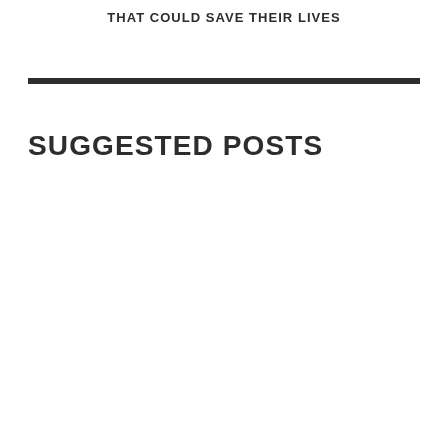THAT COULD SAVE THEIR LIVES
SUGGESTED POSTS